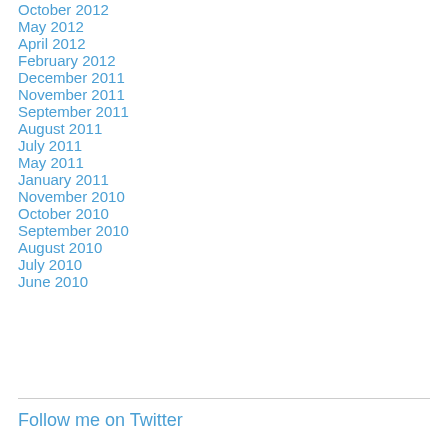October 2012
May 2012
April 2012
February 2012
December 2011
November 2011
September 2011
August 2011
July 2011
May 2011
January 2011
November 2010
October 2010
September 2010
August 2010
July 2010
June 2010
Follow me on Twitter